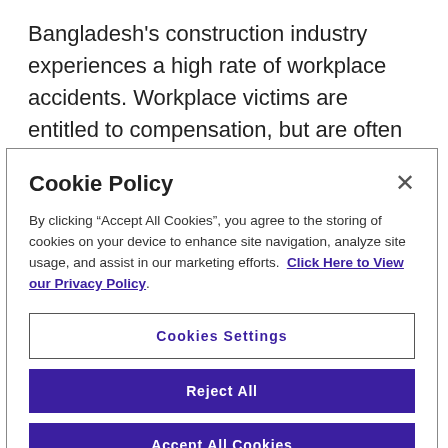Bangladesh's construction industry experiences a high rate of workplace accidents. Workplace victims are entitled to compensation, but are often unaware of their rights. This project protects the compensation rights, provides legal support to injured workers, and advocates for improved health and safety conditions in the construction sector.
Cookie Policy
By clicking “Accept All Cookies”, you agree to the storing of cookies on your device to enhance site navigation, analyze site usage, and assist in our marketing efforts. Click Here to View our Privacy Policy.
Cookies Settings
Reject All
Accept All Cookies